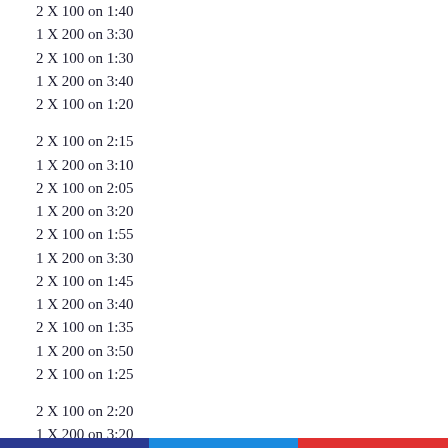2 X 100 on 1:40
1 X 200 on 3:30
2 X 100 on 1:30
1 X 200 on 3:40
2 X 100 on 1:20
2 X 100 on 2:15
1 X 200 on 3:10
2 X 100 on 2:05
1 X 200 on 3:20
2 X 100 on 1:55
1 X 200 on 3:30
2 X 100 on 1:45
1 X 200 on 3:40
2 X 100 on 1:35
1 X 200 on 3:50
2 X 100 on 1:25
2 X 100 on 2:20
1 X 200 on 3:20
2 X 100 on 2:10